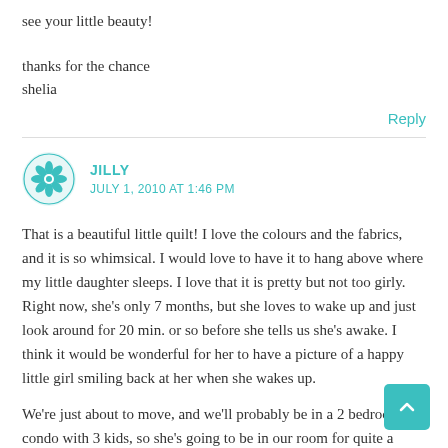see your little beauty!

thanks for the chance
shelia
Reply
JILLY
JULY 1, 2010 AT 1:46 PM
That is a beautiful little quilt! I love the colours and the fabrics, and it is so whimsical. I would love to have it to hang above where my little daughter sleeps. I love that it is pretty but not too girly. Right now, she's only 7 months, but she loves to wake up and just look around for 20 min. or so before she tells us she's awake. I think it would be wonderful for her to have a picture of a happy little girl smiling back at her when she wakes up.
We're just about to move, and we'll probably be in a 2 bedroom condo with 3 kids, so she's going to be in our room for quite a while (her brothers will share the other room). It